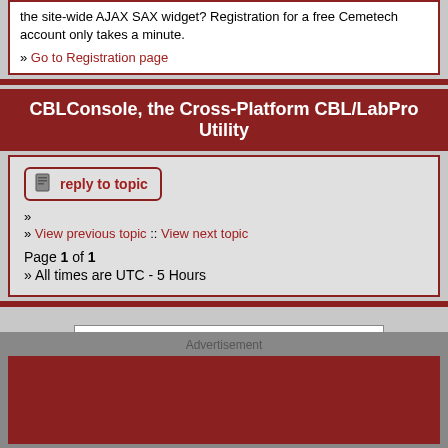the site-wide AJAX SAX widget? Registration for a free Cemetech account only takes a minute.
» Go to Registration page
CBLConsole, the Cross-Platform CBL/LabPro Utility
reply to topic
»
» View previous topic :: View next topic
Page 1 of 1
» All times are UTC - 5 Hours
Jump to: Your Projects  Go
You cannot post new topics in this forum
You cannot reply to topics in this forum
You cannot edit your posts in this forum
You cannot delete your posts in this forum
You cannot vote in polls in this forum
Advertisement